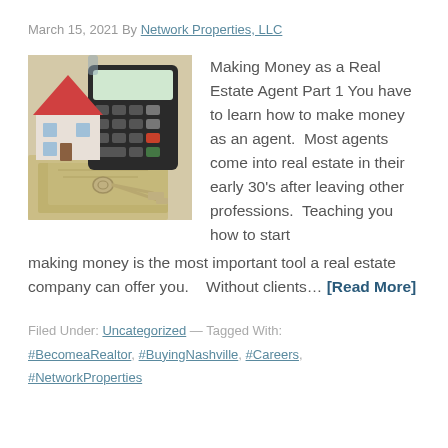March 15, 2021 By Network Properties, LLC
[Figure (photo): Photo of a toy house model, calculator, keys, and US dollar bills on a desk — real estate themed stock photo]
Making Money as a Real Estate Agent Part 1 You have to learn how to make money as an agent.  Most agents come into real estate in their early 30's after leaving other professions.  Teaching you how to start making money is the most important tool a real estate company can offer you.    Without clients… [Read More]
Filed Under: Uncategorized — Tagged With: #BecomeaRealtor, #BuyingNashville, #Careers, #NetworkProperties